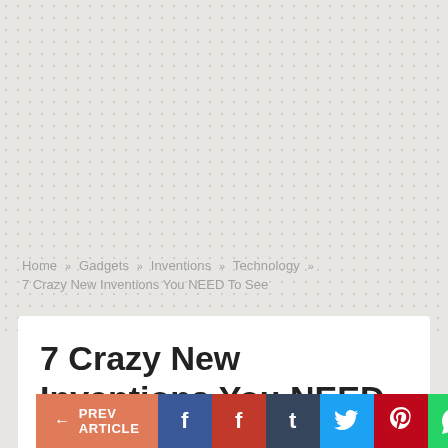[Figure (screenshot): Website breadcrumb navigation area with light gray textured background]
Home » Gadgets » Inventions » Technology » 7 Crazy New Inventions You NEED To See
7 Crazy New Inventions You NEED To See
← PREV ARTICLE  [social share icons: Facebook, Flipboard, Tumblr, Twitter, Pinterest, WhatsApp, Plus]  NEXT ARTICLE